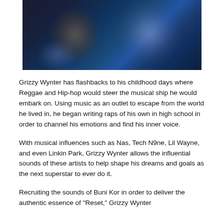[Figure (photo): A blurred dark photo of people, predominantly in dark blue and navy tones with some lighter shapes visible.]
Grizzy Wynter has flashbacks to his childhood days where Reggae and Hip-hop would steer the musical ship he would embark on. Using music as an outlet to escape from the world he lived in, he began writing raps of his own in high school in order to channel his emotions and find his inner voice.
With musical influences such as Nas, Tech N9ne, Lil Wayne, and even Linkin Park, Grizzy Wynter allows the influential sounds of these artists to help shape his dreams and goals as the next superstar to ever do it.
Recruiting the sounds of Buni Kor in order to deliver the authentic essence of "Reset," Grizzy Wynter